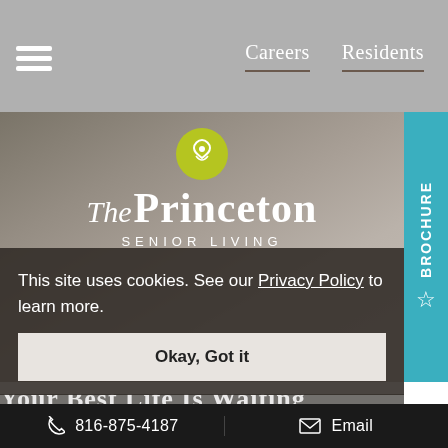Careers   Residents
[Figure (logo): The Princeton Senior Living logo — circular yellow-green icon above script 'The' and bold 'Princeton', with 'SENIOR LIVING' subtitle in spaced capitals]
[Figure (other): Vertical teal BROCHURE tab with star icon on the right edge of the hero image]
This site uses cookies. See our Privacy Policy to learn more.
Okay, Got it
Your Best Life Is Waiting
816-875-4187   Email